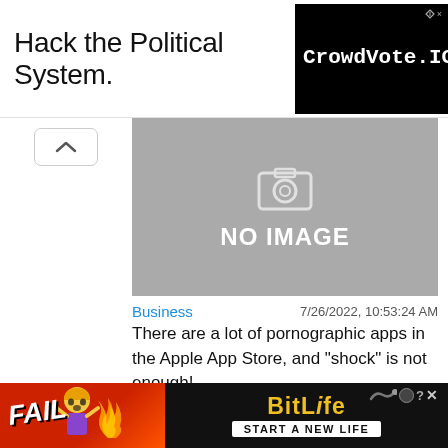[Figure (screenshot): Top advertisement banner: 'Hack the Political System.' text on white left side, and CrowdVote.IO logo on black background right side]
[Figure (photo): Gray NO IMAGE placeholder with camera icon]
Business    7/26/2022, 10:53:24 AM
There are a lot of pornographic apps in the Apple App Store, and "shock" is not enough!
[Figure (photo): Second gray NO IMAGE placeholder with camera icon and Close X button]
[Figure (screenshot): Bottom advertisement banner for BitLife game: FAIL text with cartoon character, BitLife logo, START A NEW LIFE text]